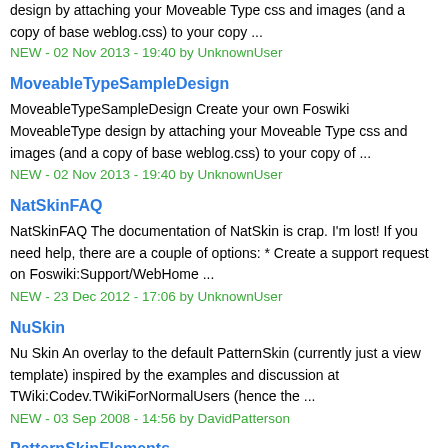design by attaching your Moveable Type css and images (and a copy of base weblog.css) to your copy ...
NEW - 02 Nov 2013 - 19:40 by UnknownUser
MoveableTypeSampleDesign
MoveableTypeSampleDesign Create your own Foswiki MoveableType design by attaching your Moveable Type css and images (and a copy of base weblog.css) to your copy of ...
NEW - 02 Nov 2013 - 19:40 by UnknownUser
NatSkinFAQ
NatSkinFAQ The documentation of NatSkin is crap. I'm lost! If you need help, there are a couple of options: * Create a support request on Foswiki:Support/WebHome ...
NEW - 23 Dec 2012 - 17:06 by UnknownUser
NuSkin
Nu Skin An overlay to the default PatternSkin (currently just a view template) inspired by the examples and discussion at TWiki:Codev.TWikiForNormalUsers (hence the ...
NEW - 03 Sep 2008 - 14:56 by DavidPatterson
PatternSkinElements